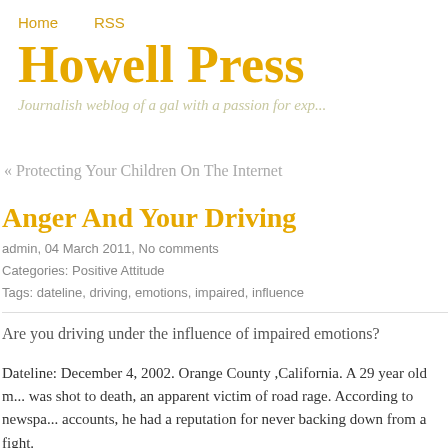Home   RSS
Howell Press
Journalish weblog of a gal with a passion for exp...
« Protecting Your Children On The Internet
Anger And Your Driving
admin, 04 March 2011, No comments
Categories: Positive Attitude
Tags: dateline, driving, emotions, impaired, influence
Are you driving under the influence of impaired emotions?
Dateline: December 4, 2002. Orange County ,California. A 29 year old m... was shot to death, an apparent victim of road rage. According to newspa... accounts, he had a reputation for never backing down from a fight.
The man and his half brother were heading home from a plumbing job when the trouble began. Apparently, three men in another car zoomed in...